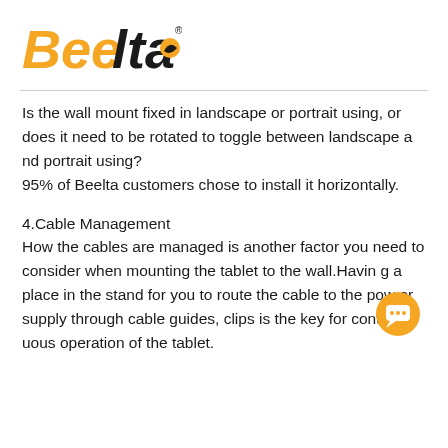[Figure (logo): Beelta company logo with orange bold text and a circular orange/black icon]
Is the wall mount fixed in landscape or portrait using, or does it need to be rotated to toggle between landscape and portrait using?
95% of Beelta customers chose to install it horizontally.
4.Cable Management
How the cables are managed is another factor you need to consider when mounting the tablet to the wall.Having a place in the stand for you to route the cable to the power supply through cable guides, clips is the key for continuous operation of the tablet.